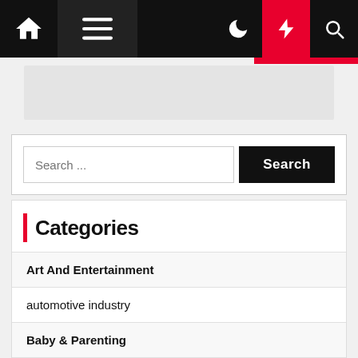Navigation bar with home icon, menu icon, moon icon, lightning bolt icon, search icon
[Figure (screenshot): Gray banner/advertisement placeholder]
Search ...
Categories
Art And Entertainment
automotive industry
Baby & Parenting
business insurance